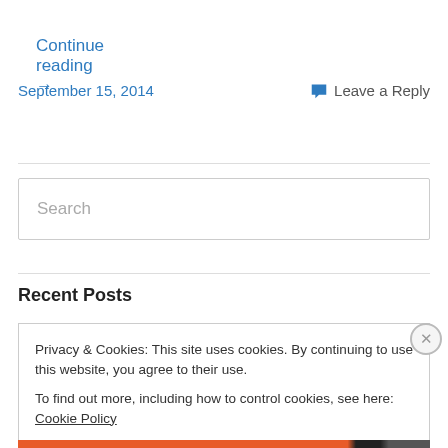Continue reading →
September 15, 2014
Leave a Reply
Search
Recent Posts
Privacy & Cookies: This site uses cookies. By continuing to use this website, you agree to their use.
To find out more, including how to control cookies, see here: Cookie Policy
Close and accept